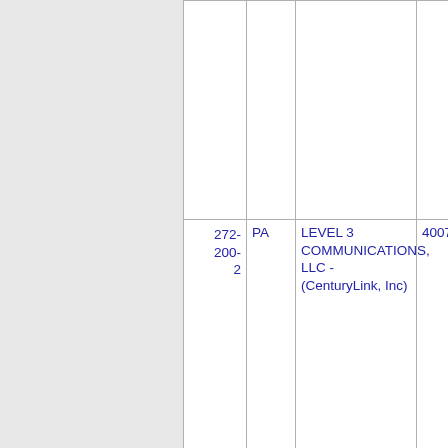| Number | State | Name | Code |  |
| --- | --- | --- | --- | --- |
|  |  |  |  |  |
| 272-200-2 | PA | LEVEL 3 COMMUNICATIONS, LLC - (CenturyLink, Inc) | 4007 |  |
| 272-200-3 | PA | BANDWIDTH.COM CLEC, LLC - PA | 002F |  |